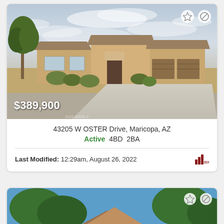[Figure (photo): Exterior photo of a single-story tan stucco home with two-car garage, desert landscaping, and cloudy sky. Price overlay shows $389,900.]
43205 W OSTER Drive, Maricopa, AZ
Active  4BD  2BA
Last Modified: 12:29am, August 26, 2022
[Figure (photo): Partial exterior photo of a home with blue sky and green trees visible.]